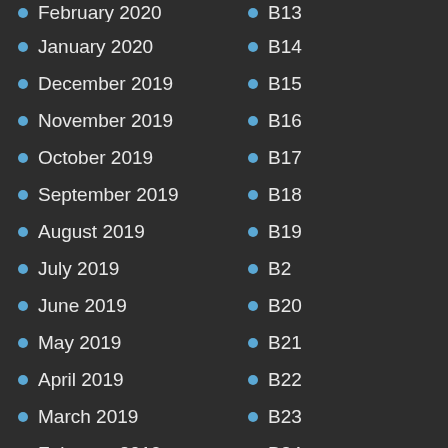February 2020
B13
January 2020
B14
December 2019
B15
November 2019
B16
October 2019
B17
September 2019
B18
August 2019
B19
July 2019
B2
June 2019
B20
May 2019
B21
April 2019
B22
March 2019
B23
February 2019
B24